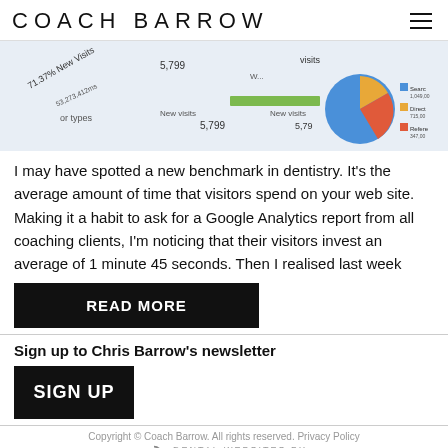COACH BARROW
[Figure (screenshot): Screenshot of Google Analytics dashboard showing pie chart with Search, Direct, Referral traffic breakdown and statistics including 71.37% New Visits and 5,799 visits]
I may have spotted a new benchmark in dentistry. It's the average amount of time that visitors spend on your web site. Making it a habit to ask for a Google Analytics report from all coaching clients, I'm noticing that their visitors invest an average of 1 minute 45 seconds. Then I realised last week
READ MORE
Sign up to Chris Barrow's newsletter
SIGN UP
Copyright © Coach Barrow. All rights reserved. Privacy Policy
DENTAL WEBSITES BY
DENTAL FOCUS